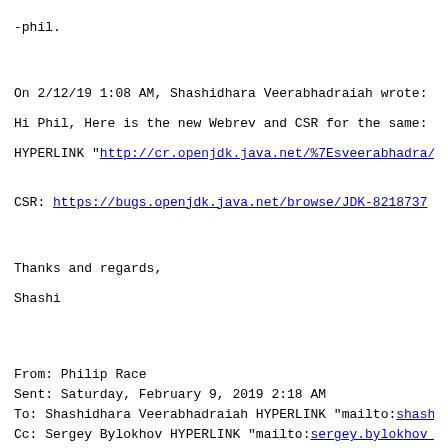-phil.
On 2/12/19 1:08 AM, Shashidhara Veerabhadraiah wrote:
Hi Phil, Here is the new Webrev and CSR for the same:
HYPERLINK "http://cr.openjdk.java.net/%7Esveerabhadra/82..."
CSR: https://bugs.openjdk.java.net/browse/JDK-8218737
Thanks and regards,
Shashi
From: Philip Race
Sent: Saturday, February 9, 2019 2:18 AM
To: Shashidhara Veerabhadraiah HYPERLINK "mailto:shashidh..."
Cc: Sergey Bylokhov HYPERLINK "mailto:sergey.bylokhov at ..."
Subject: Re: <Swing Dev> [13] JDK-8216008: -Djavax.access...